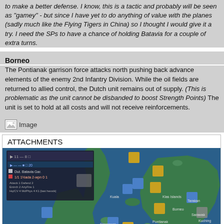to make a better defense. I know, this is a tactic and probably will be seen as "gamey" - but since I have yet to do anything of value with the planes (sadly much like the Flying Tigers in China) so I thought I would give it a try. I need the SPs to have a chance of holding Batavia for a couple of extra turns.
Borneo
The Pontianak garrison force attacks north pushing back advance elements of the enemy 2nd Infantry Division. While the oil fields are returned to allied control, the Dutch unit remains out of supply. (This is problematic as the unit cannot be disbanded to boost Strength Points) The unit is set to hold at all costs and will not receive reinforcements.
[Figure (other): Image placeholder icon with text 'Image']
ATTACHMENTS
[Figure (map): Strategy game map showing Southeast Asia region including Malaya, Borneo, and surrounding islands with military unit markers and a red dashed movement arrow]